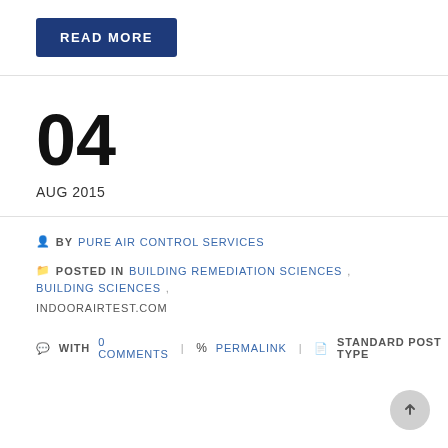READ MORE
04
AUG 2015
BY PURE AIR CONTROL SERVICES
POSTED IN BUILDING REMEDIATION SCIENCES, BUILDING SCIENCES, INDOORAIRTEST.COM
WITH 0 COMMENTS  PERMALINK  STANDARD POST TYPE